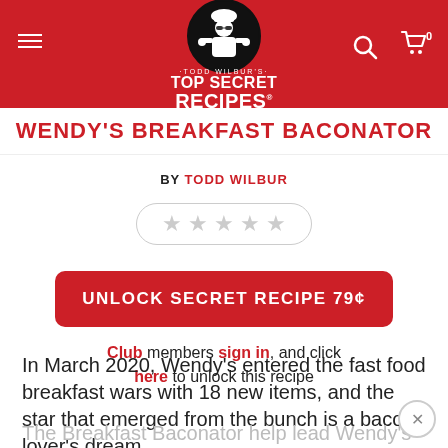TODD WILBUR'S TOP SECRET RECIPES
WENDY'S BREAKFAST BACONATOR
BY TODD WILBUR
[Figure (other): Five empty star rating widgets in a rounded pill border]
UNLOCK SECRET RECIPE 79¢
Club members sign in, and click here to unlock this recipe
In March 2020, Wendy's entered the fast food breakfast wars with 18 new items, and the star that emerged from the bunch is a bacon-lover's dream. The Breakfast Baconator help lead Wendy's to morning meal sales success in the midst of a pandemic, as other fast-fooders like McDonald's